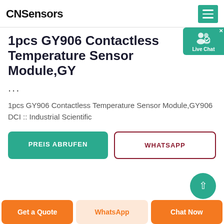CNSensors
1pcs GY906 Contactless Temperature Sensor Module,GY...
...
1pcs GY906 Contactless Temperature Sensor Module,GY906 DCI :: Industrial Scientific
[Figure (screenshot): Live Chat widget button in teal/green]
PREIS ABRUFEN
WHATSAPP
[Figure (other): Teal scroll-to-top circle button]
Get a Quote | WhatsApp | Chat Now